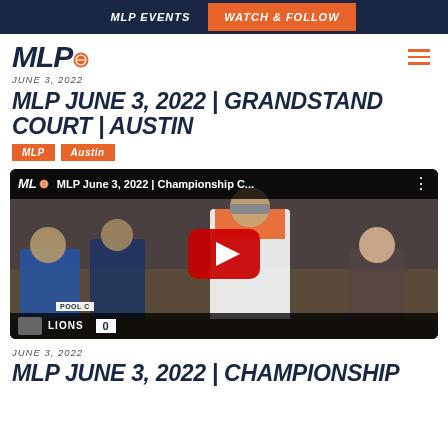MLP EVENTS | WATCH & FOLLOW
[Figure (logo): MLP logo with orange pickleball and hamburger menu icon]
JUNE 3, 2022
MLP JUNE 3, 2022 | GRANDSTAND COURT | AUSTIN
MLP   Austin
[Figure (screenshot): YouTube video thumbnail showing MLP June 3, 2022 | Championship C... with a player in white and orange holding a pickleball paddle, crowd in background, LIONS POOL C score overlay at bottom]
JUNE 3, 2022
MLP JUNE 3, 2022 | CHAMPIONSHIP